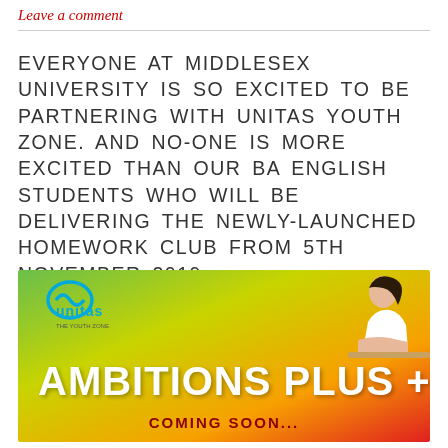Leave a comment
EVERYONE AT MIDDLESEX UNIVERSITY IS SO EXCITED TO BE PARTNERING WITH UNITAS YOUTH ZONE. AND NO-ONE IS MORE EXCITED THAN OUR BA ENGLISH STUDENTS WHO WILL BE DELIVERING THE NEWLY-LAUNCHED HOMEWORK CLUB FROM 5TH NOVEMBER 2019.
[Figure (illustration): Unitas Youth Zone banner with green-to-red gradient background, Unitas logo top left, young woman studying top right, large white bold text reading 'AMBITIONS PLUS +', and dark red bold text reading 'COMING SOON...' at the bottom center.]